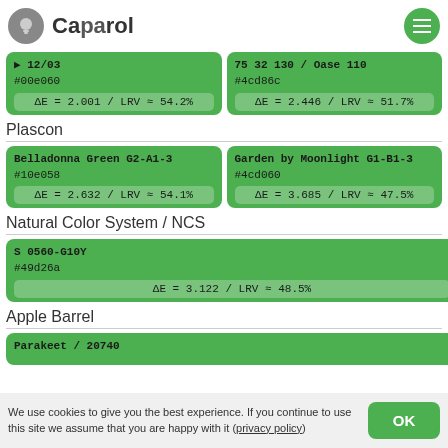Caparol
12/03
#00e060
ΔE = 2.001 / LRV ≈ 54.2%
75 32 130 / Oase 110
#4cd86c
ΔE = 2.446 / LRV ≈ 51.7%
Plascon
Belladonna Green G2-A1-3
#10e058
ΔE = 2.632 / LRV ≈ 54.1%
Garden by Moonlight G1-B1-3
#4cd060
ΔE = 3.685 / LRV ≈ 47.5%
Natural Color System / NCS
S 0560-G10Y
#49d26a
ΔE = 3.122 / LRV ≈ 48.5%
Apple Barrel
Parakeet / 20740
We use cookies to give you the best experience. If you continue to use this site we assume that you are happy with it (privacy policy)